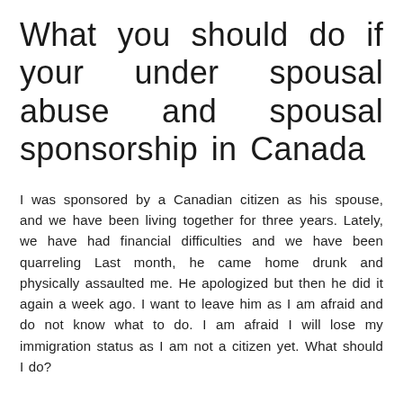What you should do if your under spousal abuse and spousal sponsorship in Canada
I was sponsored by a Canadian citizen as his spouse, and we have been living together for three years. Lately, we have had financial difficulties and we have been quarreling Last month, he came home drunk and physically assaulted me. He apologized but then he did it again a week ago. I want to leave him as I am afraid and do not know what to do. I am afraid I will lose my immigration status as I am not a citizen yet. What should I do?